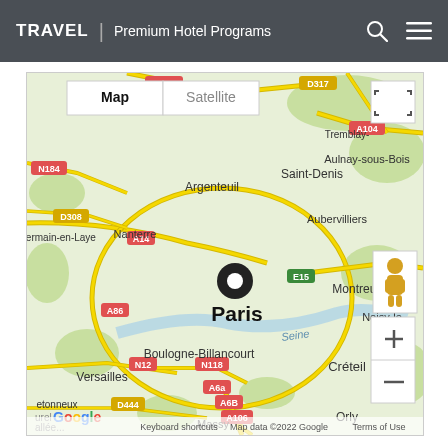TRAVEL | Premium Hotel Programs
[Figure (map): Google Map centered on Paris, France, showing surrounding areas including Argenteuil, Saint-Denis, Aulnay-sous-Bois, Aubervilliers, Nanterre, Montreuil, Boulogne-Billancourt, Versailles, Créteil, Orly, Massy, and various road labels (A115, D317, N184, D308, A14, A86, A104, N12, N118, A6a, A6B, A106, D444, E15). A black location pin marks Paris. Map controls include Map/Satellite toggle, fullscreen button, pegman, and zoom +/- buttons. Map data ©2022 Google.]